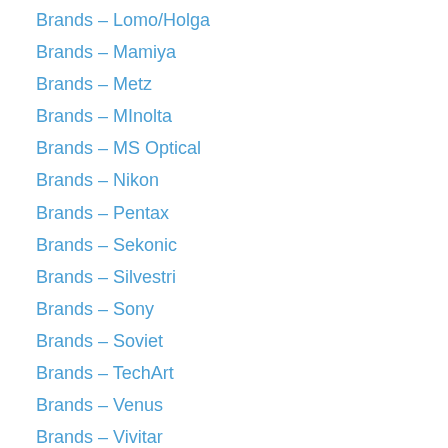Brands – Lomo/Holga
Brands – Mamiya
Brands – Metz
Brands – MInolta
Brands – MS Optical
Brands – Nikon
Brands – Pentax
Brands – Sekonic
Brands – Silvestri
Brands – Sony
Brands – Soviet
Brands – TechArt
Brands – Venus
Brands – Vivitar
Brands – Zeiss
Cameras – Compact
Cameras – Digital
Cameras – Film
Cameras – Rangefinder
Cameras – SLR